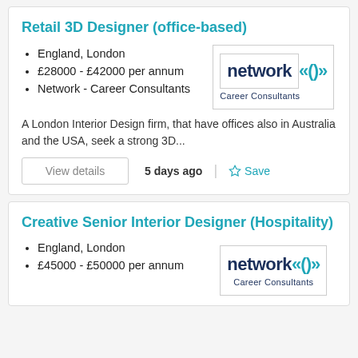Retail 3D Designer (office-based)
England, London
£28000 - £42000 per annum
Network - Career Consultants
[Figure (logo): Network Career Consultants logo with stylized double chevron brackets in teal]
A London Interior Design firm, that have offices also in Australia and the USA, seek a strong 3D...
View details
5 days ago
Save
Creative Senior Interior Designer (Hospitality)
England, London
£45000 - £50000 per annum
[Figure (logo): Network Career Consultants logo with stylized double chevron brackets in teal]